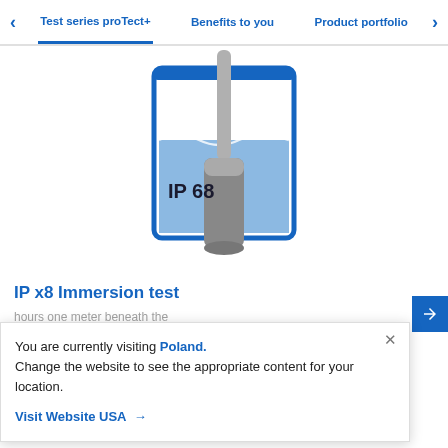Test series proTect+ | Benefits to you | Product portfolio
[Figure (illustration): Illustration of an IP68 immersion test showing a beaker filled with blue water and a cylindrical probe/sensor submerged in it, with a cable going above the waterline. Text 'IP 68' appears inside the beaker.]
IP x8 Immersion test
hours one meter beneath the u...
You are currently visiting Poland. Change the website to see the appropriate content for your location.
Visit Website USA →